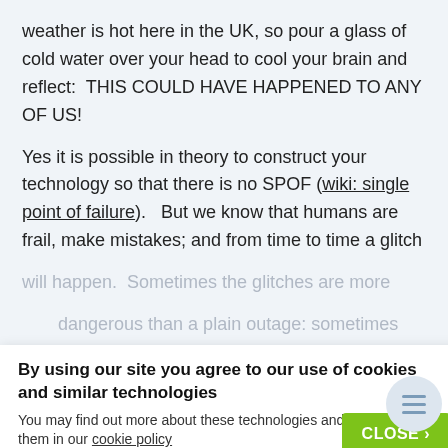weather is hot here in the UK, so pour a glass of cold water over your head to cool your brain and reflect:  THIS COULD HAVE HAPPENED TO ANY OF US!
Yes it is possible in theory to construct your technology so that there is no SPOF (wiki: single point of failure).   But we know that humans are frail, make mistakes; and from time to time a glitch will happen.  Sometimes the glitches are more dangerous than a plain outage: sometimes they mean that every single item in your store is priced at 1 penny, (Amazon) ; or priced at £34.99 caused by the ScrewFix price engine error, a while back.
By using our site you agree to our use of cookies and similar technologies
You may find out more about these technologies and how to disable them in our cookie policy